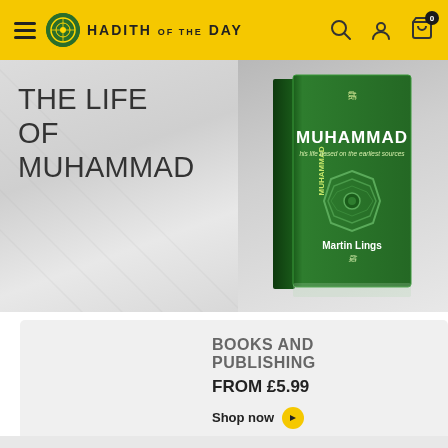HADITH OF THE DAY
THE LIFE OF MUHAMMAD
[Figure (photo): Green hardcover book titled 'Muhammad: his life based on the earliest sources' by Martin Lings, shown at an angle]
[Figure (photo): Multiple books stacked and standing, including Muhammad by Martin Lings (green cover) and another red-covered book]
BOOKS AND PUBLISHING
FROM £5.99
Shop now